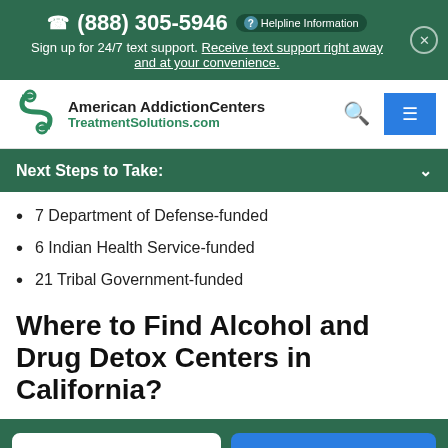(888) 305-5946  ? Helpline Information
Sign up for 24/7 text support. Receive text support right away and at your convenience.
[Figure (logo): American Addiction Centers TreatmentSolutions.com logo with green chain-link S icon]
Next Steps to Take:
7 Department of Defense-funded
6 Indian Health Service-funded
21 Tribal Government-funded
Where to Find Alcohol and Drug Detox Centers in California?
Call (888) 305-5946   Verify Your Insurance →
? Helpline Information